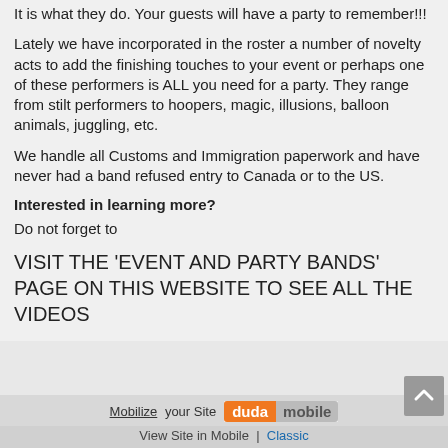It is what they do. Your guests will have a party to remember!!!
Lately we have incorporated in the roster a number of novelty acts to add the finishing touches to your event or perhaps one of these performers is ALL you need for a party. They range from stilt performers to hoopers, magic, illusions, balloon animals, juggling, etc.
We handle all Customs and Immigration paperwork and have never had a band refused entry to Canada or to the US.
Interested in learning more?
Do not forget to
VISIT THE 'EVENT AND PARTY BANDS' PAGE ON THIS WEBSITE TO SEE ALL THE VIDEOS
Mobilize your Site  duda mobile  |  View Site in Mobile  |  Classic